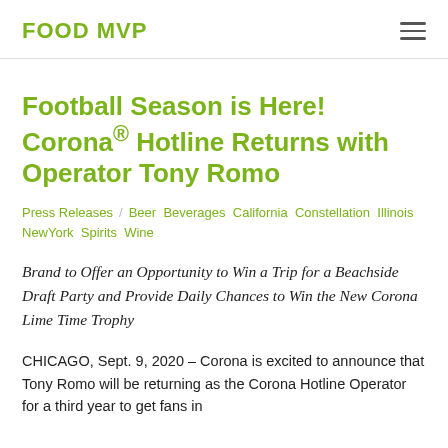FOOD MVP
Football Season is Here! Corona® Hotline Returns with Operator Tony Romo
Press Releases / Beer  Beverages  California  Constellation  Illinois  NewYork  Spirits  Wine
Brand to Offer an Opportunity to Win a Trip for a Beachside Draft Party and Provide Daily Chances to Win the New Corona Lime Time Trophy
CHICAGO, Sept. 9, 2020 – Corona is excited to announce that Tony Romo will be returning as the Corona Hotline Operator for a third year to get fans in